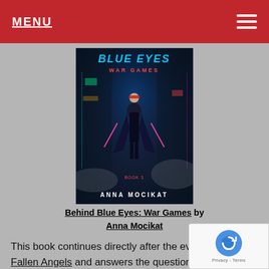MENU
[Figure (illustration): Book cover for 'Behind Blue Eyes: War Games' by Anna Mocikat, Book 3. Cyberpunk style cover showing a female figure in black coat wielding weapons in a neon-lit city street. Title 'Blue Eyes War Games' in glowing blue text, author name 'ANNA MOCIKAT' at the bottom.]
Behind Blue Eyes: War Games by Anna Mocikat
This book continues directly after the events of Fallen Angels and answers the question readers from the second book have been waiting for: